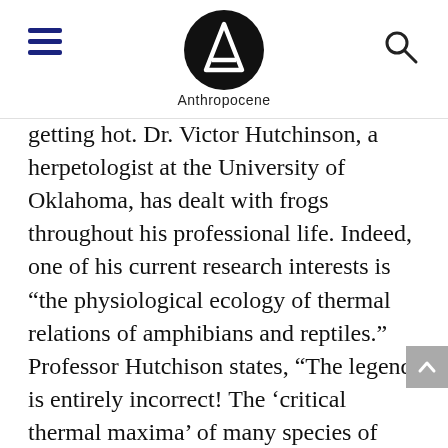Anthropocene
getting hot. Dr. Victor Hutchinson, a herpetologist at the University of Oklahoma, has dealt with frogs throughout his professional life. Indeed, one of his current research interests is “the physiological ecology of thermal relations of amphibians and reptiles.” Professor Hutchison states, “The legend is entirely incorrect! The ‘critical thermal maxima’ of many species of frogs have been determined by several investigators. In this procedure, the water in which a frog is submerged is heated gradually at about 2